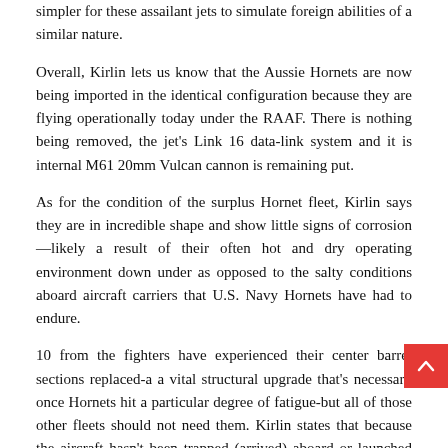simpler for these assailant jets to simulate foreign abilities of a similar nature.
Overall, Kirlin lets us know that the Aussie Hornets are now being imported in the identical configuration because they are flying operationally today under the RAAF. There is nothing being removed, the jet's Link 16 data-link system and it is internal M61 20mm Vulcan cannon is remaining put.
As for the condition of the surplus Hornet fleet, Kirlin says they are in incredible shape and show little signs of corrosion—likely a result of their often hot and dry operating environment down under as opposed to the salty conditions aboard aircraft carriers that U.S. Navy Hornets have had to endure.
10 from the fighters have experienced their center barrel sections replaced-a a vital structural upgrade that's necessary once Hornets hit a particular degree of fatigue-but all of those other fleets should not need them. Kirlin states that because the aircraft hasn't been trapped (arrived) aboard or launched off a carrier, which in turn causes an extreme force on the airframe, they will be able to operate continuously through 2035 and perhaps even beyond.